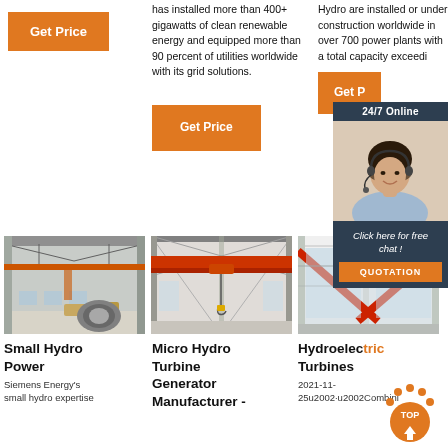[Figure (screenshot): Orange Get Price button in left column]
has installed more than 400+ gigawatts of clean renewable energy and equipped more than 90 percent of utilities worldwide with its grid solutions.
Hydro are installed or under construction worldwide in over 700 power plants with a total capacity exceeding...
[Figure (screenshot): 24/7 Online chat widget with female agent photo and Click here for free chat / QUOTATION button]
[Figure (photo): Orange Get Price button (mid column)]
[Figure (photo): Orange Get Price button (right column, partially visible)]
[Figure (photo): Industrial warehouse interior with large round machinery/generator]
Small Hydro Power
Siemens Energy's small hydro expertise
[Figure (photo): Industrial warehouse interior with red overhead crane]
Micro Hydro Turbine Generator Manufacturer -
[Figure (photo): Industrial facility interior with red structural beams]
Hydroelectric Turbines
2021-11-25u2002·u2002Combining